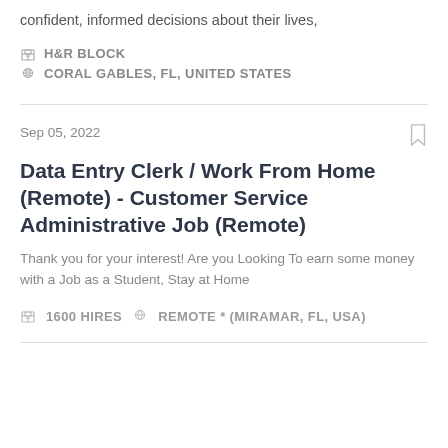confident, informed decisions about their lives,
H&R BLOCK
CORAL GABLES, FL, UNITED STATES
Sep 05, 2022
Data Entry Clerk / Work From Home (Remote) - Customer Service Administrative Job (Remote)
Thank you for your interest! Are you Looking To earn some money with a Job as a Student, Stay at Home
1600 HIRES   REMOTE * (MIRAMAR, FL, USA)